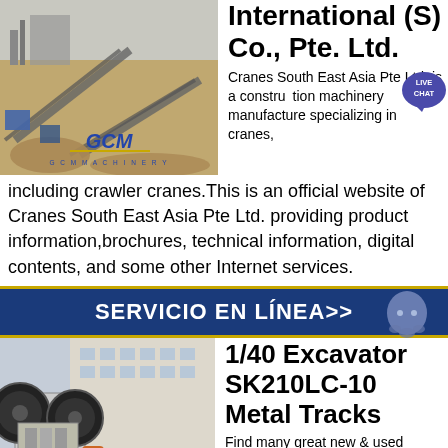[Figure (photo): Industrial quarry/mining site with conveyor belts and heavy machinery, with GCM Machinery logo overlay]
International (S) Co., Pte. Ltd.
Cranes South East Asia Pte Ltd. is a construction machinery manufacture specializing in cranes, including crawler cranes.This is an official website of Cranes South East Asia Pte Ltd. providing product information,brochures, technical information, digital contents, and some other Internet services.
SERVICIO EN LÍNEA>>
[Figure (photo): Industrial jaw crusher machinery in a yard with GCM Machinery logo overlay]
1/40 Excavator SK210LC-10 Metal Tracks
Find many great new & used options and get the